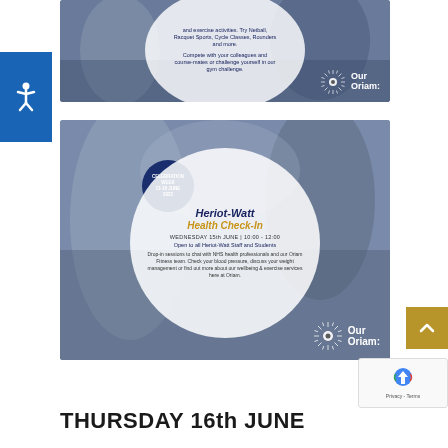[Figure (photo): Top promotional image for Oriam fitness activities showing a white circle overlay with text about sports and exercise activities including Netball, Racquet Sports, Cycle Classes, Rounders. Text says to compete with colleagues or challenge yourself in gym challenge. Oriam logo bottom right.]
[Figure (photo): Heriot-Watt Health Check-In promotional image. Blurred gym background with white circle overlay. Dark blue celebration week badge top left of circle. Text: Heriot-Watt Health Check-In, WEDNESDAY 15th JUNE | 10:00 - 12:00, Open to all Heriot-Watt Staff and Students. Drop-in sessions to chat with NHS health professionals and our Oriam Fitness team. Check your blood pressure, discuss your weight management or find out more about our wellbeing & exercise services here at Oriam. Oriam logo bottom right.]
THURSDAY 16th JUNE